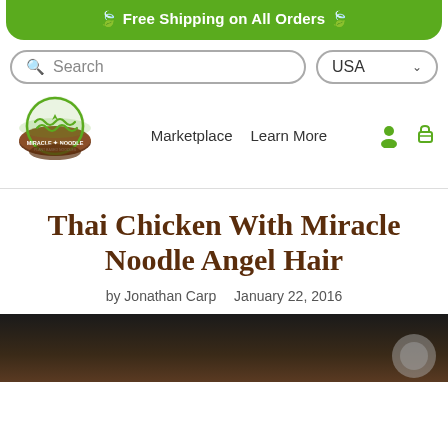🍃 Free Shipping on All Orders 🍃
[Figure (screenshot): Search bar with magnifying glass icon and placeholder text 'Search', and country selector showing 'USA' with dropdown chevron]
[Figure (logo): Miracle Noodle logo: green noodle bowl with brown base, text 'MIRACLE NOODLE PLANT BASED NOODLES']
Marketplace   Learn More
Thai Chicken With Miracle Noodle Angel Hair
by Jonathan Carp   January 22, 2016
[Figure (photo): Dark food photo, partially visible at bottom of page]